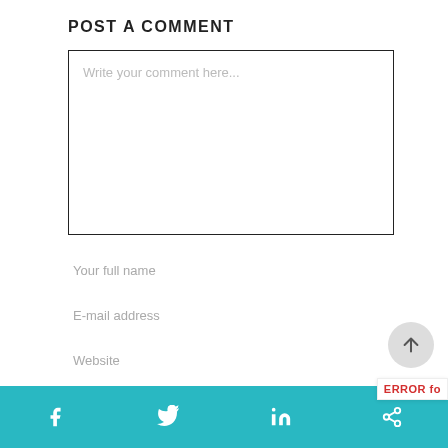POST A COMMENT
[Figure (screenshot): Comment text area input box with placeholder text 'Write your comment here...']
Your full name
E-mail address
Website
Social share bar with Facebook, Twitter, LinkedIn, and share icons